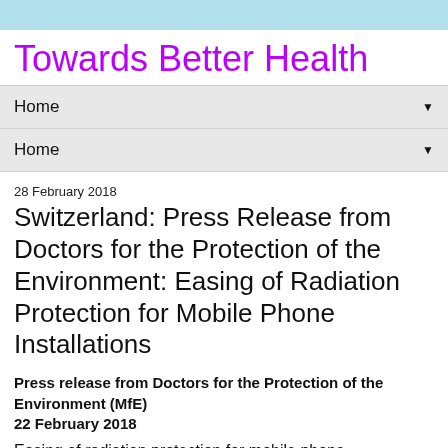Towards Better Health
Home ▼
Home ▼
28 February 2018
Switzerland: Press Release from Doctors for the Protection of the Environment: Easing of Radiation Protection for Mobile Phone Installations
Press release from Doctors for the Protection of the Environment (MfE)
22 February 2018
Easing of radiation protection for mobile phone